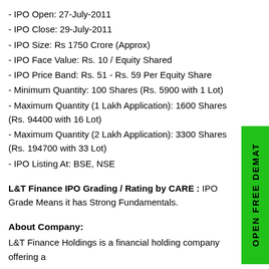- IPO Open: 27-July-2011
- IPO Close: 29-July-2011
- IPO Size: Rs 1750 Crore (Approx)
- IPO Face Value: Rs. 10 / Equity Shared
- IPO Price Band: Rs. 51 - Rs. 59 Per Equity Share
- Minimum Quantity: 100 Shares (Rs. 5900 with 1 Lot)
- Maximum Quantity (1 Lakh Application): 1600 Shares (Rs. 94400 with 16 Lot)
- Maximum Quantity (2 Lakh Application): 3300 Shares (Rs. 194700 with 33 Lot)
- IPO Listing At: BSE, NSE
L&T Finance IPO Grading / Rating by CARE : IPO Grade Means it has Strong Fundamentals.
About Company:
L&T Finance Holdings is a financial holding company offering a